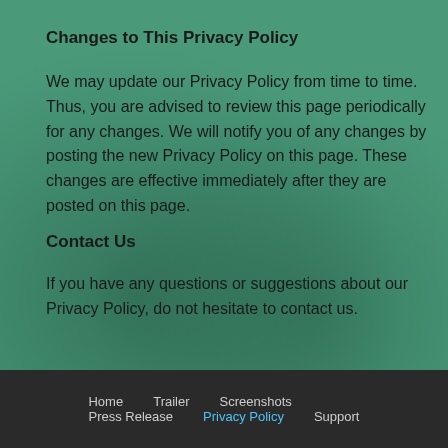Changes to This Privacy Policy
We may update our Privacy Policy from time to time. Thus, you are advised to review this page periodically for any changes. We will notify you of any changes by posting the new Privacy Policy on this page. These changes are effective immediately after they are posted on this page.
Contact Us
If you have any questions or suggestions about our Privacy Policy, do not hesitate to contact us.
Home  Trailer  Screenshots  Press Release  Privacy Policy  Support